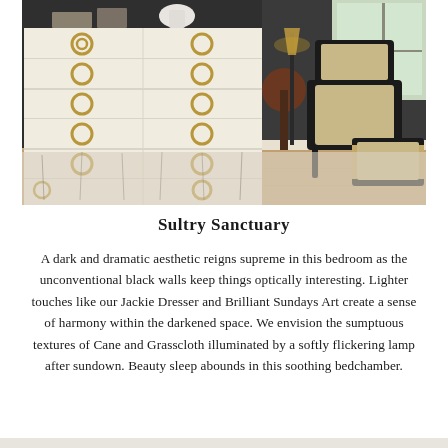[Figure (photo): A bedroom interior featuring a cream/white chest of drawers with gold ring pulls on the left, and a dark rattan-backed accent chair with a matching ottoman and side table on the right. Dark walls, light wood flooring, and a patterned area rug.]
Sultry Sanctuary
A dark and dramatic aesthetic reigns supreme in this bedroom as the unconventional black walls keep things optically interesting. Lighter touches like our Jackie Dresser and Brilliant Sundays Art create a sense of harmony within the darkened space. We envision the sumptuous textures of Cane and Grasscloth illuminated by a softly flickering lamp after sundown. Beauty sleep abounds in this soothing bedchamber.